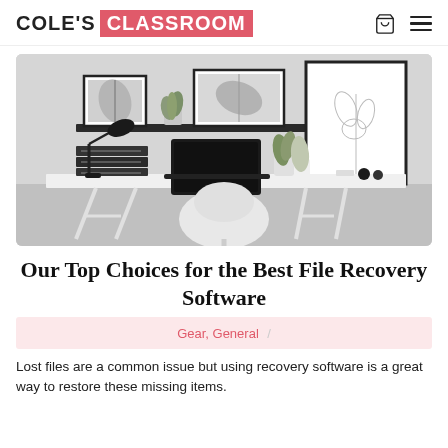COLE'S CLASSROOM
[Figure (photo): A minimalist home office desk scene in black and white tones, featuring a laptop, desk lamp, stacked file trays, framed artwork on a wall shelf, plants, and a white chair.]
Our Top Choices for the Best File Recovery Software
Gear, General /
Lost files are a common issue but using recovery software is a great way to restore these missing items.